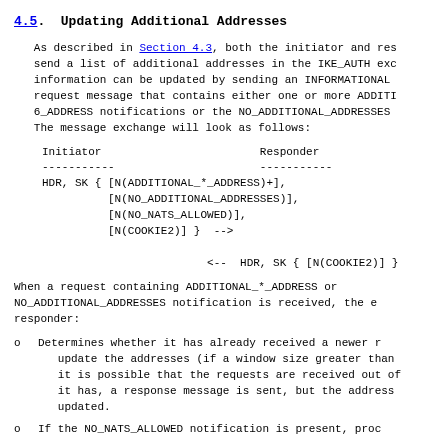4.5.  Updating Additional Addresses
As described in Section 4.3, both the initiator and res send a list of additional addresses in the IKE_AUTH exc information can be updated by sending an INFORMATIONAL request message that contains either one or more ADDITI 6_ADDRESS notifications or the NO_ADDITIONAL_ADDRESSES The message exchange will look as follows:
Initiator                        Responder
   -----------                      -----------
   HDR, SK { [N(ADDITIONAL_*_ADDRESS)+],
             [N(NO_ADDITIONAL_ADDRESSES)],
             [N(NO_NATS_ALLOWED)],
             [N(COOKIE2)] }  -->

                              <--  HDR, SK { [N(COOKIE2)] }
When a request containing ADDITIONAL_*_ADDRESS or NO_ADDITIONAL_ADDRESSES notification is received, the e responder:
Determines whether it has already received a newer r update the addresses (if a window size greater than it is possible that the requests are received out of it has, a response message is sent, but the address updated.
If the NO_NATS_ALLOWED notification is present, proc